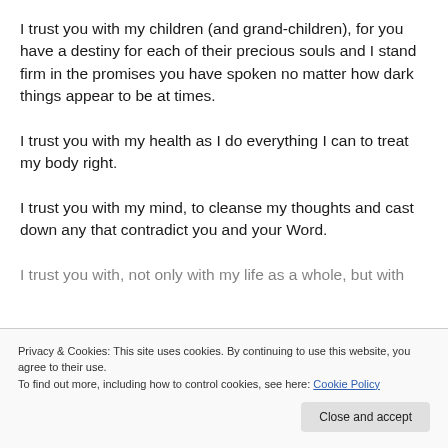I trust you with my children (and grand-children), for you have a destiny for each of their precious souls and I stand firm in the promises you have spoken no matter how dark things appear to be at times.
I trust you with my health as I do everything I can to treat my body right.
I trust you with my mind, to cleanse my thoughts and cast down any that contradict you and your Word.
I trust you with, not only with my life as a whole, but with
Privacy & Cookies: This site uses cookies. By continuing to use this website, you agree to their use.
To find out more, including how to control cookies, see here: Cookie Policy